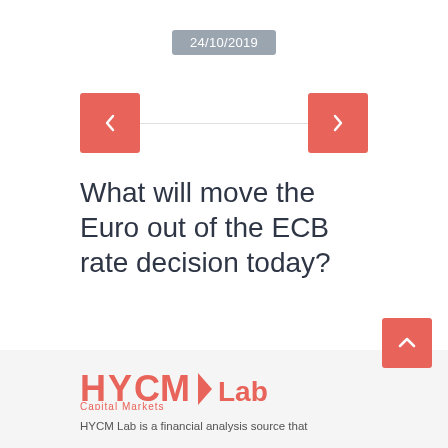24/10/2019
[Figure (other): Navigation arrows (left chevron and right chevron) as red square buttons with a horizontal line between them]
What will move the Euro out of the ECB rate decision today?
[Figure (logo): HYCM Capital Markets Lab logo in red]
HYCM Lab is a financial analysis source that